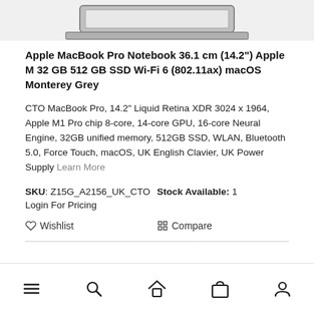[Figure (photo): Partial view of a MacBook Pro laptop top/lid, grey color, shown from above at the top of the page.]
Apple MacBook Pro Notebook 36.1 cm (14.2") Apple M 32 GB 512 GB SSD Wi-Fi 6 (802.11ax) macOS Monterey Grey
CTO MacBook Pro, 14.2" Liquid Retina XDR 3024 x 1964, Apple M1 Pro chip 8-core, 14-core GPU, 16-core Neural Engine, 32GB unified memory, 512GB SSD, WLAN, Bluetooth 5.0, Force Touch, macOS, UK English Clavier, UK Power Supply Learn More
SKU: Z15G_A2156_UK_CTO   Stock Available: 1
Login For Pricing
♡ Wishlist   Compare
Navigation bar with menu, search, home, cart, and account icons